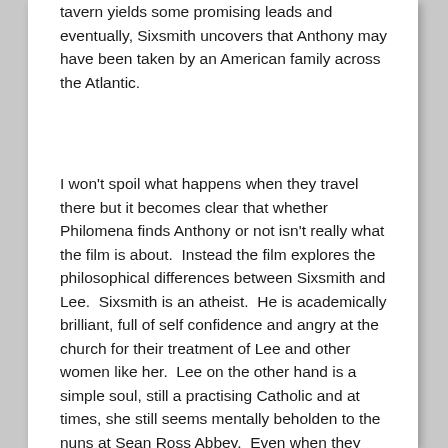tavern yields some promising leads and eventually, Sixsmith uncovers that Anthony may have been taken by an American family across the Atlantic.
I won't spoil what happens when they travel there but it becomes clear that whether Philomena finds Anthony or not isn't really what the film is about.  Instead the film explores the philosophical differences between Sixsmith and Lee.  Sixsmith is an atheist.  He is academically brilliant, full of self confidence and angry at the church for their treatment of Lee and other women like her.  Lee on the other hand is a simple soul, still a practising Catholic and at times, she still seems mentally beholden to the nuns at Sean Ross Abbey.  Even when they don't budge to help her look for her son, she is polite, respectful and keeps her